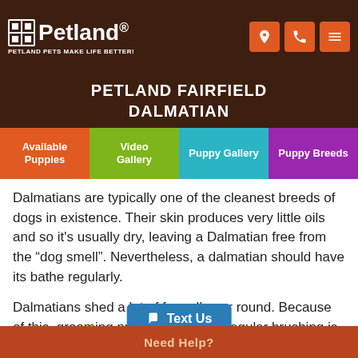Petland — Petland Pets Make Life Better!
PETLAND FAIRFIELD
DALMATIAN
Available Puppies | Video Gallery | Puppy Gallery | Puppy Breeds
Dalmatians are typically one of the cleanest breeds of dogs in existence. Their skin produces very little oils and so it's usually dry, leaving a Dalmatian free from the “dog smell”. Nevertheless, a dalmatian should have its bathe regularly.
Dalmatians shed a lot of furs all year round. Because of this, grooming practices such as regular brushing is advised. Other important grooming practices include cleanings its ears, brushing its teeth and trimming its nails.
Need Help?